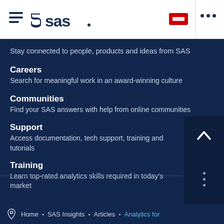SAS navigation header with hamburger menu, SAS logo, flag button, and dots menu
Stay connected to people, products and ideas from SAS
Careers
Search for meaningful work in an award-winning culture
Communities
Find your SAS answers with help from online communities
Support
Access documentation, tech support, training and tutorials
Training
Learn top-rated analytics skills required in today's market
Home • SAS Insights • Articles • Analytics for